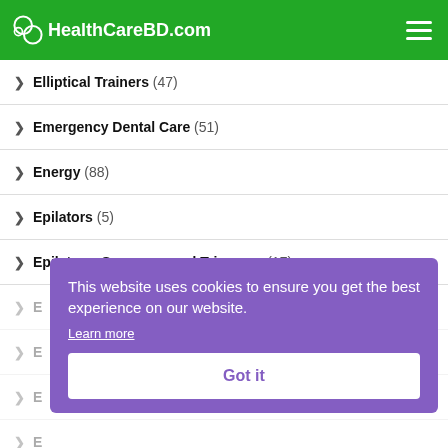HealthCareBD.com
Elliptical Trainers (47)
Emergency Dental Care (51)
Energy (88)
Epilators (5)
Epilators, Groomers and Trimmers (17)
This website uses cookies to ensure you get the best experience on our website. Learn more Got it